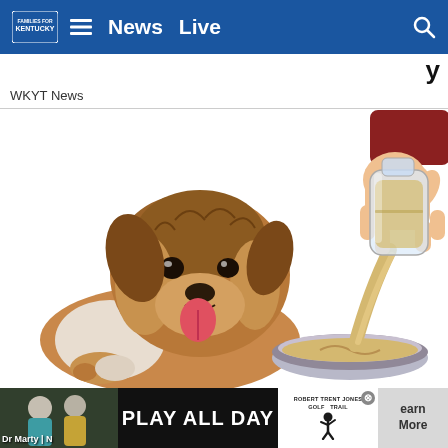News  Live
WKYT News
[Figure (illustration): Illustrated image of a fluffy brown dog looking at a bowl while a human hand pours liquid from a glass bottle into a metal dog bowl. The liquid appears golden/tan colored.]
Vet Says: if Your Dog Eats Dry Food, Do This Every
[Figure (photo): Thumbnail photo of people outdoors, used in advertisement]
[Figure (infographic): Advertisement banner: PLAY ALL DAY - Robert Trent Jones Golf Trail logo]
earn More
Dr Marty | N